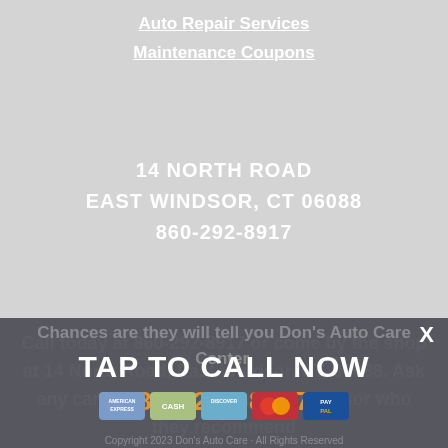Auto Repair Services
Maintenance Coupons
14 NORTH ROAD
EAST WINDSOR, CT 06088
860-292-8917
Call today at 860-292-8917 or come by the shop at 14 North Road, East Windsor, CT, 06088. Ask any car or truck owner in East Windsor who they recommend
Chances are they will tell you Don's Auto Care Center.
TAP TO CALL NOW
860-292-8917
Copyright 2023 Don's Auto Care · All Rights Reserved